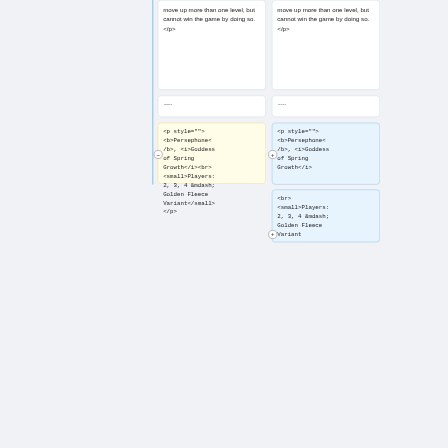move up more than one level, but cannot win the game by doing so.</p>
move up more than one level, but cannot win the game by doing so.</p>
----
----
<p style="">
<b>Persephone</b>, <i>Goddess of Spring Growth</i><br>
<small>Players: 2, 3, 4 &mdash; Golden Fleece Variant</small>
</p>
<p style="">
<b>Persephone</b>, <i>Goddess of Spring Growth</i>
<br>
<small>Players: 2, 3, 4 &mdash; Golden Fleece Variant